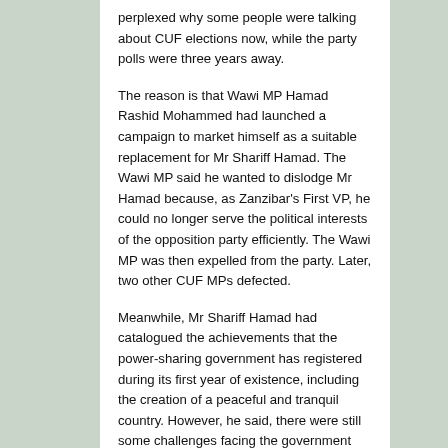perplexed why some people were talking about CUF elections now, while the party polls were three years away.
The reason is that Wawi MP Hamad Rashid Mohammed had launched a campaign to market himself as a suitable replacement for Mr Shariff Hamad. The Wawi MP said he wanted to dislodge Mr Hamad because, as Zanzibar's First VP, he could no longer serve the political interests of the opposition party efficiently. The Wawi MP was then expelled from the party. Later, two other CUF MPs defected.
Meanwhile, Mr Shariff Hamad had catalogued the achievements that the power-sharing government has registered during its first year of existence, including the creation of a peaceful and tranquil country. However, he said, there were still some challenges facing the government including cross-cutting issues such as drug abuse and trafficking, the environment and HIV/Aids.